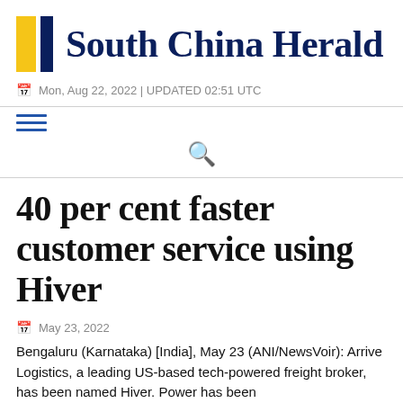South China Herald
Mon, Aug 22, 2022 | UPDATED 02:51 UTC
40 per cent faster customer service using Hiver
May 23, 2022
Bengaluru (Karnataka) [India], May 23 (ANI/NewsVoir): Arrive Logistics, a leading US-based tech-powered freight broker, has been named Hiver. Power has been